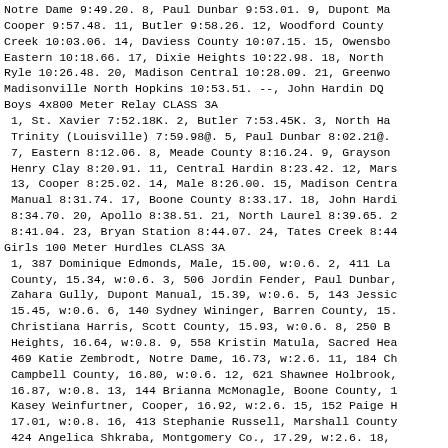Notre Dame 9:49.20. 8, Paul Dunbar 9:53.01. 9, Dupont Ma Cooper 9:57.48. 11, Butler 9:58.26. 12, Woodford County Creek 10:03.06. 14, Daviess County 10:07.15. 15, Owensbo Eastern 10:18.66. 17, Dixie Heights 10:22.98. 18, North Ryle 10:26.48. 20, Madison Central 10:28.09. 21, Greenwo Madisonville North Hopkins 10:53.51. --, John Hardin DQ
Boys 4x800 Meter Relay CLASS 3A
1, St. Xavier 7:52.18K. 2, Butler 7:53.45K. 3, North Ha Trinity (Louisville) 7:59.98@. 5, Paul Dunbar 8:02.21@. 7, Eastern 8:12.06. 8, Meade County 8:16.24. 9, Grayson Henry Clay 8:20.91. 11, Central Hardin 8:23.42. 12, Mars 13, Cooper 8:25.02. 14, Male 8:26.00. 15, Madison Centra Manual 8:31.74. 17, Boone County 8:33.17. 18, John Hardi 8:34.70. 20, Apollo 8:38.51. 21, North Laurel 8:39.65. 2 8:41.04. 23, Bryan Station 8:44.07. 24, Tates Creek 8:44
Girls 100 Meter Hurdles CLASS 3A
1, 387 Dominique Edmonds, Male, 15.00, w:0.6. 2, 411 La County, 15.34, w:0.6. 3, 506 Jordin Fender, Paul Dunbar, Zahara Gully, Dupont Manual, 15.39, w:0.6. 5, 143 Jessic 15.45, w:0.6. 6, 140 Sydney Wininger, Barren County, 15. Christiana Harris, Scott County, 15.93, w:0.6. 8, 250 B Heights, 16.64, w:0.8. 9, 558 Kristin Matula, Sacred Hea 469 Katie Zembrodt, Notre Dame, 16.73, w:2.6. 11, 184 Ch Campbell County, 16.80, w:0.6. 12, 621 Shawnee Holbrook, 16.87, w:0.8. 13, 144 Brianna McMonagle, Boone County, 1 Kasey Weinfurtner, Cooper, 16.92, w:2.6. 15, 152 Paige H 17.01, w:0.8. 16, 413 Stephanie Russell, Marshall County 424 Angelica Shkraba, Montgomery Co., 17.29, w:2.6. 18, Hardin, 17.35, w:0.8. 19, 353 Amari Cowan, Lafayette, 17. Katie Jennings, Dixie Heights, 17.62, w:2.6. 21, 542 Mad